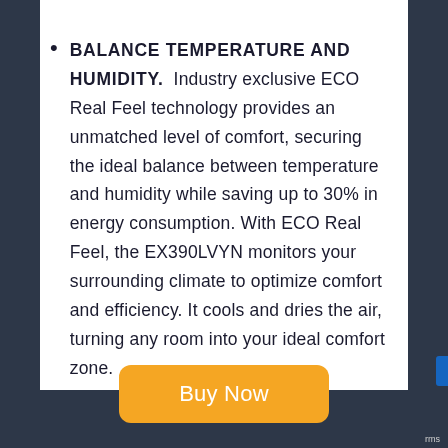BALANCE TEMPERATURE AND HUMIDITY. Industry exclusive ECO Real Feel technology provides an unmatched level of comfort, securing the ideal balance between temperature and humidity while saving up to 30% in energy consumption. With ECO Real Feel, the EX390LVYN monitors your surrounding climate to optimize comfort and efficiency. It cools and dries the air, turning any room into your ideal comfort zone.
Buy Now